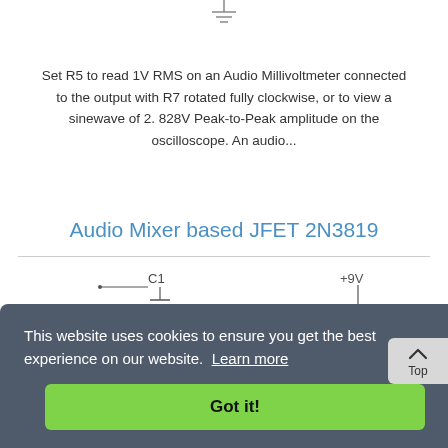[Figure (schematic): Ground symbol at top of page, partial circuit schematic visible]
Set R5 to read 1V RMS on an Audio Millivoltmeter connected to the output with R7 rotated fully clockwise, or to view a sinewave of 2.828V Peak-to-Peak amplitude on the oscilloscope. An audio...
Audio Mixer based JFET 2N3819
[Figure (schematic): Partial circuit schematic of Audio Mixer based JFET 2N3819 showing components C1, C2, C3, resistors R1, R2, R3, transistor Q1, with +9V supply rail. Partially obscured by cookie consent banner.]
This website uses cookies to ensure you get the best experience on our website.  Learn more
Got it!